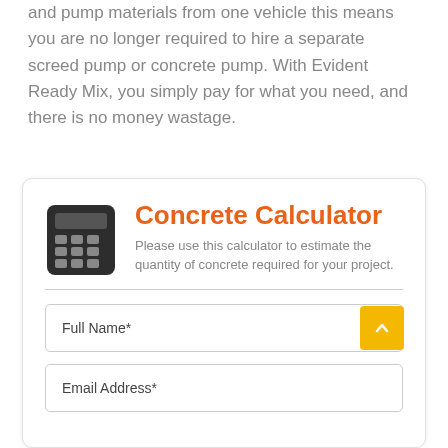and pump materials from one vehicle this means you are no longer required to hire a separate screed pump or concrete pump. With Evident Ready Mix, you simply pay for what you need, and there is no money wastage.
Concrete Calculator
Please use this calculator to estimate the quantity of concrete required for your project.
Full Name*
Email Address*